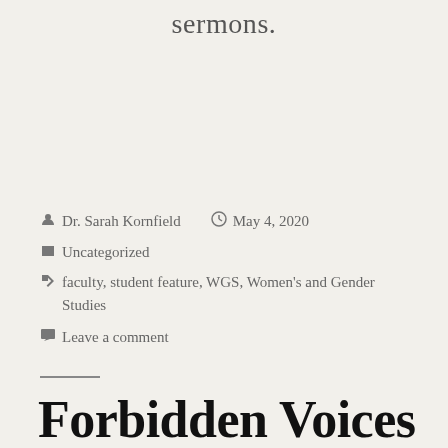sermons.
Dr. Sarah Kornfield   May 4, 2020
Uncategorized
faculty, student feature, WGS, Women's and Gender Studies
Leave a comment
Forbidden Voices